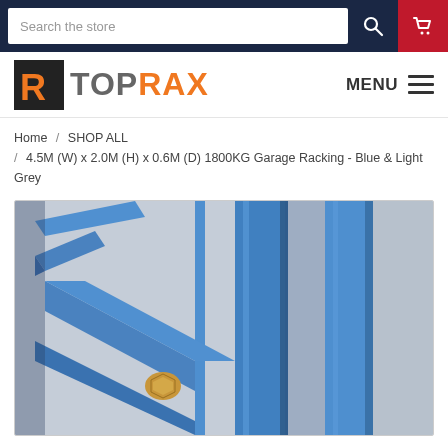Search the store
[Figure (logo): TOPRAX logo with orange/grey letter R icon and orange/grey text]
Home / SHOP ALL / 4.5M (W) x 2.0M (H) x 0.6M (D) 1800KG Garage Racking - Blue & Light Grey
[Figure (photo): Close-up photo of blue steel garage racking showing bolt connection detail]